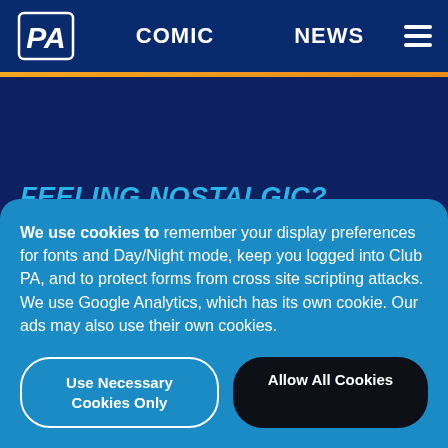PA | COMIC | NEWS
FEELING NOSTALGIC?
[Figure (illustration): Partial comic strip thumbnail showing panels with dialogue bubbles on green and white backgrounds]
We use cookies to remember your display preferences for fonts and Day/Night mode, keep you logged into Club PA, and to protect forms from cross site scripting attacks. We use Google Analytics, which has its own cookie. Our ads may also use their own cookies.
Use Necessary Cookies Only
Allow All Cookies